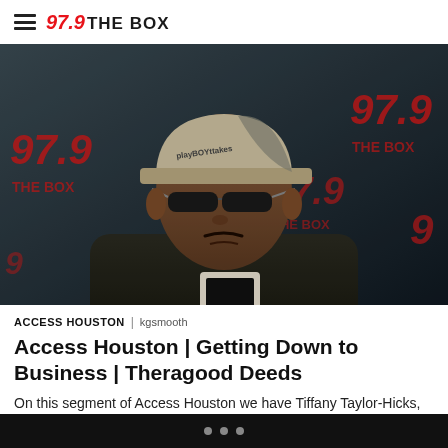97.9 THE BOX
[Figure (photo): Man wearing a baseball cap and sunglasses in a dark hoodie, photographed in front of a 97.9 The Box branded backdrop with red logos on dark background]
ACCESS HOUSTON | kgsmooth
Access Houston | Getting Down to Business | Theragood Deeds
On this segment of Access Houston we have Tiffany Taylor-Hicks,